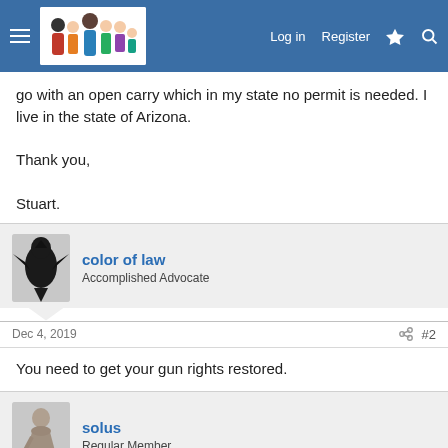Log in  Register
go with an open carry which in my state no permit is needed. I live in the state of Arizona.

Thank you,

Stuart.
color of law
Accomplished Advocate
Dec 4, 2019  #2
You need to get your gun rights restored.
solus
Regular Member
Dec 4, 2019  #3